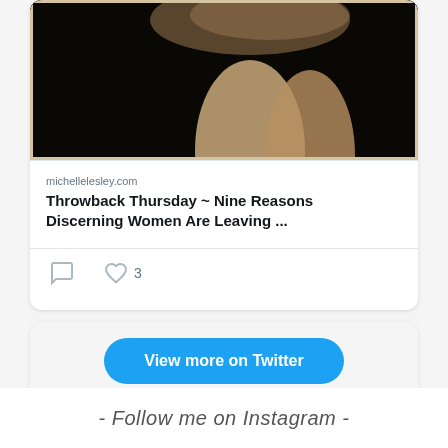[Figure (photo): Sepia-toned vintage photograph (partially cropped at top) showing legs with lace stocking top against dark background]
michellelesley.com
Throwback Thursday ~ Nine Reasons Discerning Women Are Leaving ...
[Figure (infographic): Tweet action icons: comment icon and heart icon with count 3]
View more on Twitter
Learn more about privacy on Twitter
- Follow me on Instagram -